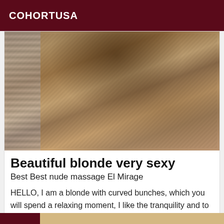COHORTUSA
[Figure (photo): Photo of a person in a lace bodysuit posing on a bed with striped and patterned fabric in the background]
Beautiful blonde very sexy
Best Best nude massage El Mirage
HELLO, I am a blonde with curved bunches, which you will spend a relaxing moment, I like the tranquility and to take the necessary time Kisses. See you soon.